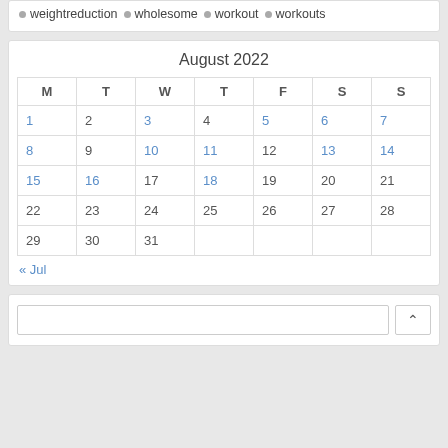weightreduction
wholesome
workout
workouts
August 2022
| M | T | W | T | F | S | S |
| --- | --- | --- | --- | --- | --- | --- |
| 1 | 2 | 3 | 4 | 5 | 6 | 7 |
| 8 | 9 | 10 | 11 | 12 | 13 | 14 |
| 15 | 16 | 17 | 18 | 19 | 20 | 21 |
| 22 | 23 | 24 | 25 | 26 | 27 | 28 |
| 29 | 30 | 31 |  |  |  |  |
« Jul